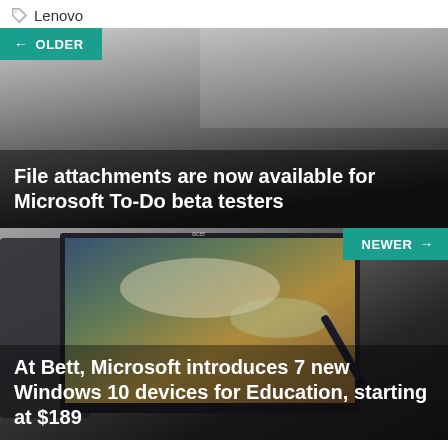Lenovo
[Figure (screenshot): Card with gradient grey background and 'OLDER' teal button, title: File attachments are now available for Microsoft To-Do beta testers]
[Figure (photo): Card with laptop/tablet device with stylus on screen showing earth image, 'NEWER' teal button, title: At Bett, Microsoft introduces 7 new Windows 10 devices for Education, starting at $189]